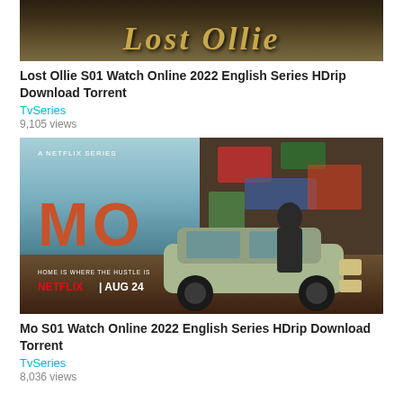[Figure (photo): Lost Ollie TV series thumbnail showing stylized golden text on dark background]
Lost Ollie S01 Watch Online 2022 English Series HDrip Download Torrent
TvSeries
9,105 views
[Figure (photo): Mo Netflix series poster showing man leaning on vintage car in front of graffiti wall, text: A NETFLIX SERIES, MO, HOME IS WHERE THE HUSTLE IS, NETFLIX | AUG 24]
Mo S01 Watch Online 2022 English Series HDrip Download Torrent
TvSeries
8,036 views